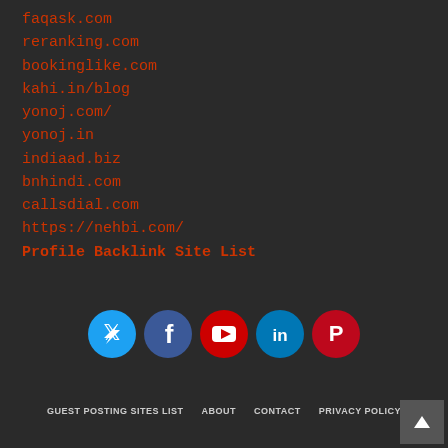faqask.com
reranking.com
bookinglike.com
kahi.in/blog
yonoj.com/
yonoj.in
indiaad.biz
bnhindi.com
callsdial.com
https://nehbi.com/
Profile Backlink Site List
[Figure (infographic): Social media icons row: Twitter (light blue), Facebook (dark blue), YouTube (red), LinkedIn (blue), Pinterest (red)]
GUEST POSTING SITES LIST   ABOUT   CONTACT   PRIVACY POLICY